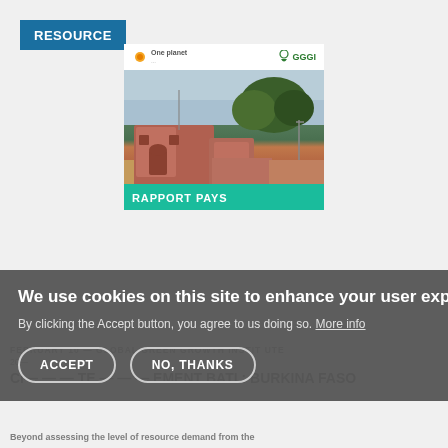RESOURCE
[Figure (photo): Cover image of a GGGI country report (Rapport Pays) showing a red/terracotta building with trees and a motorcyclist in Burkina Faso. One Planet and GGGI logos at top.]
FEBRUARY — GLOBAL GREEN GROWTH INSTITUTE
20—
CLIMATE CHANGE MANAGEMENT BATI : BURKINA FASO
Beyond assessing the level of resource demand from the
We use cookies on this site to enhance your user experience
By clicking the Accept button, you agree to us doing so. More info